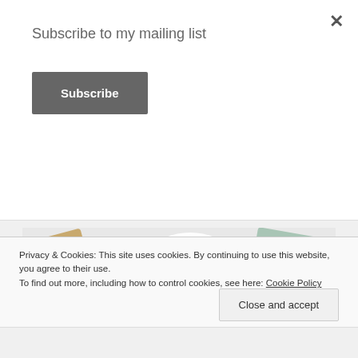Subscribe to my mailing list
Subscribe
[Figure (screenshot): WordPress VIP advertisement showing 'here the WordPress CMS for Very Important Content' with WPvip logo and 'Learn more' button, surrounded by colorful brand cards including Capgemini, Merck, and others]
Privacy & Cookies: This site uses cookies. By continuing to use this website, you agree to their use.
To find out more, including how to control cookies, see here: Cookie Policy
Close and accept